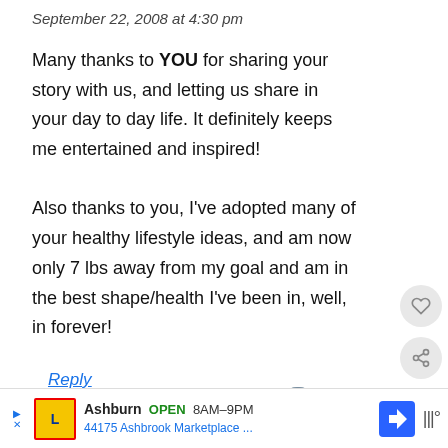September 22, 2008 at 4:30 pm
Many thanks to YOU for sharing your story with us, and letting us share in your day to day life. It definitely keeps me entertained and inspired!

Also thanks to you, I've adopted many of your healthy lifestyle ideas, and am now only 7 lbs away from my goal and am in the best shape/health I've been in, well, in forever!
Reply
WHAT'S NEXT → Cold Run Straight To...
Ashburn OPEN 8AM–9PM 44175 Ashbrook Marketplace ...